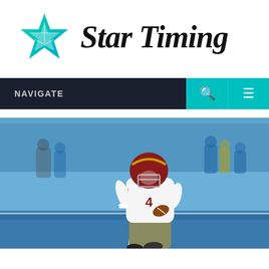[Figure (logo): Star Timing logo with teal star icon on left and 'Star Timing' text in black serif italic font on right]
NAVIGATE
[Figure (photo): NFL quarterback wearing white Washington Football Team uniform with number 4 and burgundy/gold helmet, holding football and preparing to throw, with blue-clad crowd in background]